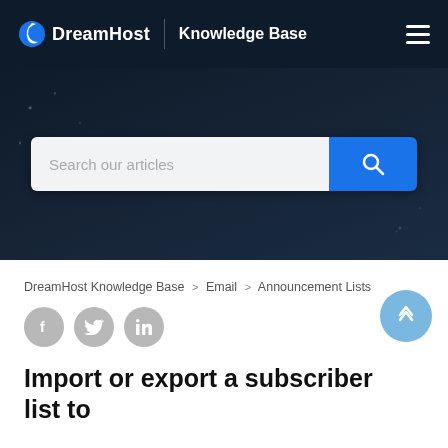DreamHost | Knowledge Base
[Figure (screenshot): DreamHost Knowledge Base website header with dark navy background, DreamHost logo on the left, 'Knowledge Base' text, and hamburger menu icon on the right]
[Figure (screenshot): Hero banner with dark starfield background and a search bar reading 'Search our articles' with a blue search button]
DreamHost Knowledge Base > Email > Announcement Lists
[Figure (infographic): Social share icons: Facebook, Twitter, LinkedIn in grey circles]
Import or export a subscriber list to an Announcement List